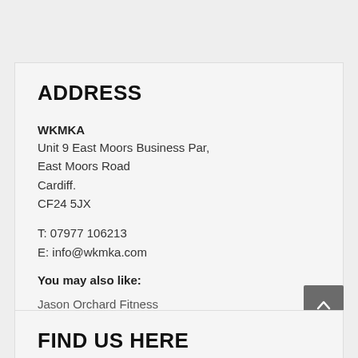ADDRESS
WKMKA
Unit 9 East Moors Business Par,
East Moors Road
Cardiff.
CF24 5JX

T: 07977 106213
E: info@wkmka.com
You may also like:
Jason Orchard Fitness
Ladies Box4 Fitness
Trainstation 2 Fightclub
FIND US HERE